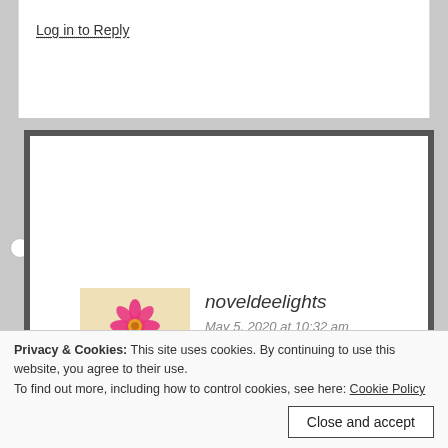Log in to Reply
noveldeelights
May 5, 2020 at 10:32 am
Sorry to hear that. Hope it passes soon!
★ Liked by 1 person
Log in to Reply
Privacy & Cookies: This site uses cookies. By continuing to use this website, you agree to their use.
To find out more, including how to control cookies, see here: Cookie Policy
Close and accept
ren books is great. I'm looking forward to